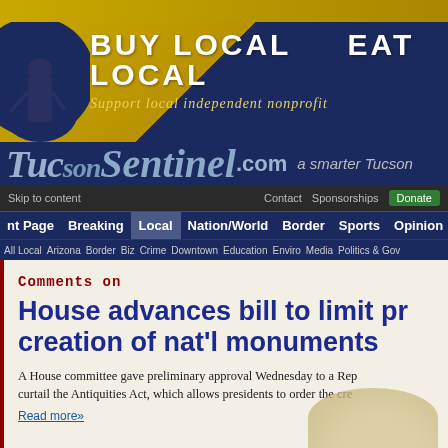[Figure (screenshot): TucsonSentinel.com website banner with 'BUY LOCAL EAT LOCAL — Support local independent nonprofit' advertisement and site logo/navigation]
Skip to content   Contact   Sponsorships   Donate
TucsonSentinel.com — a smarter Tucson
nt Page   Breaking   Local   Nation/World   Border   Sports   Opinion
All Local   Arizona   Border   Biz   Crime   Downtown   Education   Enviro   Media   Politics & Gov
Comments on
House advances bill to limit presidential creation of nat'l monuments
A House committee gave preliminary approval Wednesday to a Republican bill to curtail the Antiquities Act, which allows presidents to order the cre...
Read more»